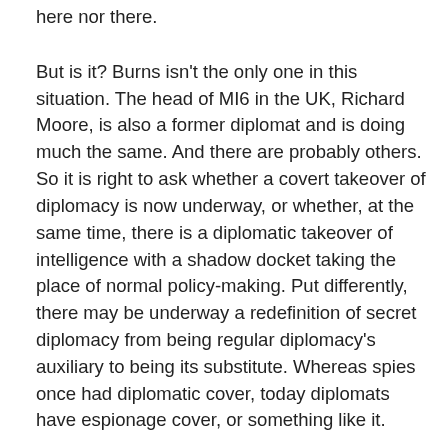here nor there.
But is it? Burns isn't the only one in this situation. The head of MI6 in the UK, Richard Moore, is also a former diplomat and is doing much the same. And there are probably others. So it is right to ask whether a covert takeover of diplomacy is now underway, or whether, at the same time, there is a diplomatic takeover of intelligence with a shadow docket taking the place of normal policy-making. Put differently, there may be underway a redefinition of secret diplomacy from being regular diplomacy's auxiliary to being its substitute. Whereas spies once had diplomatic cover, today diplomats have espionage cover, or something like it.
That is one of several policy mantras that Joe Biden's decision has apparently flipped on its head: Another is that a civilian evacuation should precede, not follow, a military evacuation. Still another is that a strategic and diplomatic commitment should be matched with, and not vitiate, a political and practical commitment. And yet another is that